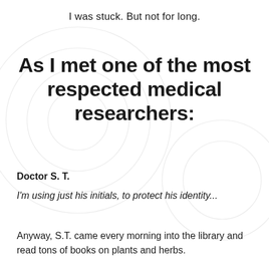I was stuck. But not for long.
As I met one of the most respected medical researchers:
Doctor S. T.
I'm using just his initials, to protect his identity...
Anyway, S.T. came every morning into the library and read tons of books on plants and herbs.